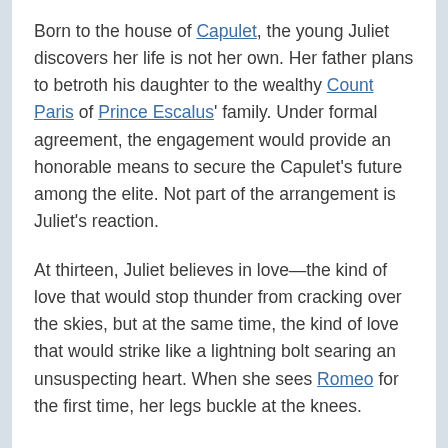Born to the house of Capulet, the young Juliet discovers her life is not her own. Her father plans to betroth his daughter to the wealthy Count Paris of Prince Escalus' family. Under formal agreement, the engagement would provide an honorable means to secure the Capulet's future among the elite. Not part of the arrangement is Juliet's reaction.
At thirteen, Juliet believes in love—the kind of love that would stop thunder from cracking over the skies, but at the same time, the kind of love that would strike like a lightning bolt searing an unsuspecting heart. When she sees Romeo for the first time, her legs buckle at the knees.
His words give her life: